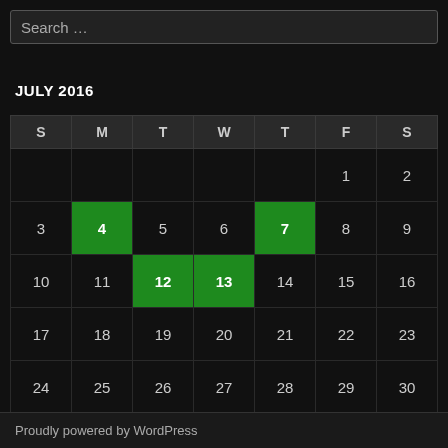Search …
JULY 2016
| S | M | T | W | T | F | S |
| --- | --- | --- | --- | --- | --- | --- |
|  |  |  |  |  | 1 | 2 |
| 3 | 4 | 5 | 6 | 7 | 8 | 9 |
| 10 | 11 | 12 | 13 | 14 | 15 | 16 |
| 17 | 18 | 19 | 20 | 21 | 22 | 23 |
| 24 | 25 | 26 | 27 | 28 | 29 | 30 |
| 31 |  |  |  |  |  |  |
« Jun    Oct »
Proudly powered by WordPress